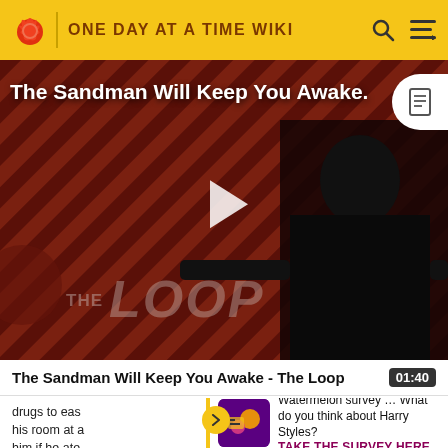ONE DAY AT A TIME WIKI
[Figure (screenshot): Video thumbnail for 'The Sandman Will Keep You Awake - The Loop' showing a figure in a black cloak against a diagonal striped background with THE LOOP logo and a play button overlay.]
The Sandman Will Keep You Awake - The Loop  01:40
drugs to eas
his room at a
him if he ate
Watermelon survey … What do you think about Harry Styles? TAKE THE SURVEY HERE